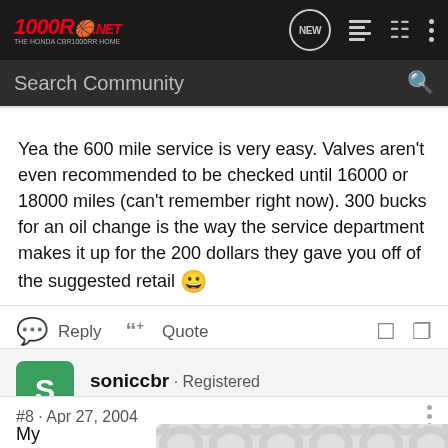1000RR.NET - Search Community
Yea the 600 mile service is very easy. Valves aren't even recommended to be checked until 16000 or 18000 miles (can't remember right now). 300 bucks for an oil change is the way the service department makes it up for the 200 dollars they gave you off of the suggested retail 😀
Reply   Quote
soniccbr · Registered
Joined Mar 31, 2004 · 34 Posts
#8 · Apr 27, 2004
My deal... never